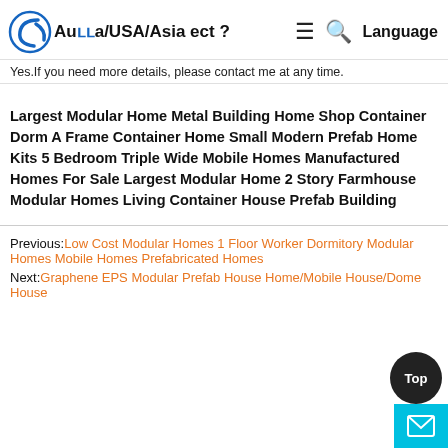Australia/USA/Asia ect ? [navigation icons] Language
Yes.If you need more details, please contact me at any time.
Largest Modular Home Metal Building Home Shop Container Dorm A Frame Container Home Small Modern Prefab Home Kits 5 Bedroom Triple Wide Mobile Homes Manufactured Homes For Sale Largest Modular Home 2 Story Farmhouse Modular Homes Living Container House Prefab Building
Previous: Low Cost Modular Homes 1 Floor Worker Dormitory Modular Homes Mobile Homes Prefabricated Homes
Next: Graphene EPS Modular Prefab House Home/Mobile House/Dome House